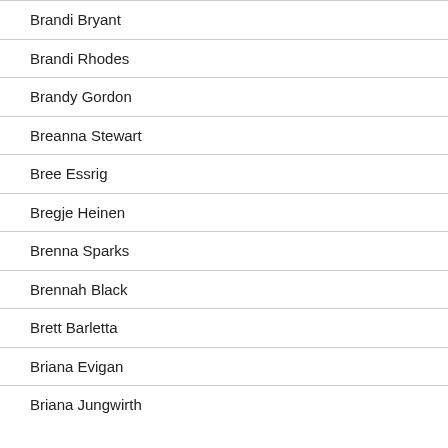Brandi Bryant
Brandi Rhodes
Brandy Gordon
Breanna Stewart
Bree Essrig
Bregje Heinen
Brenna Sparks
Brennah Black
Brett Barletta
Briana Evigan
Briana Jungwirth